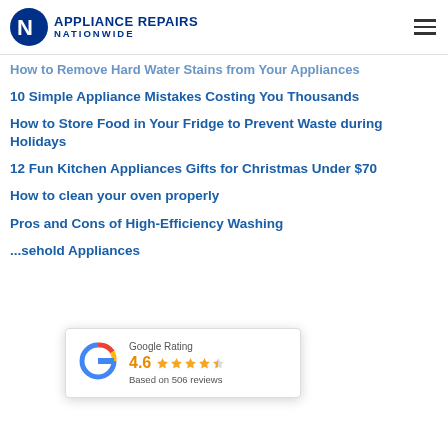Appliance Repairs Nationwide
How to Remove Hard Water Stains from Your Appliances
10 Simple Appliance Mistakes Costing You Thousands
How to Store Food in Your Fridge to Prevent Waste during Holidays
12 Fun Kitchen Appliances Gifts for Christmas Under $70
How to clean your oven properly
Pros and Cons of High-Efficiency Washing [Machines]
[...sehold Appliances]
[Figure (infographic): Google Rating popup showing 4.6 stars based on 506 reviews with the Google G logo]